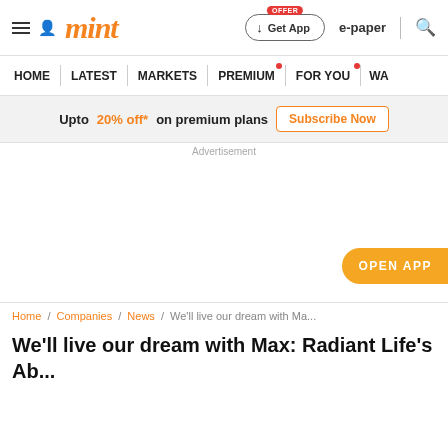mint
Upto 20% off* on premium plans  Subscribe Now
Advertisement
OPEN APP
Home / Companies / News / We'll live our dream with Ma...
We'll live our dream with Max: Radiant Life's Ab...